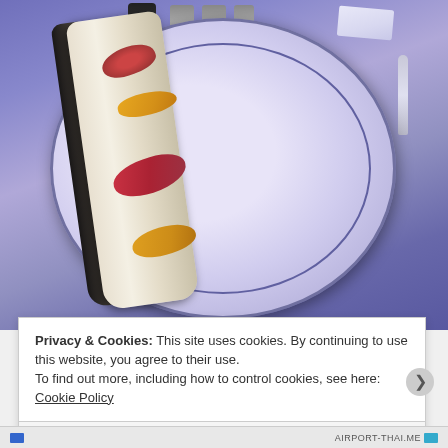[Figure (photo): A photograph of a fish or seafood dish served on a white plate with a silver rim ring, garnished with alternating pieces of orange citrus and red salmon/tuna sashimi slices arranged along a long piece of white fish. The plate is set on a purple-lit table with condiment bottles, a napkin, and a spoon visible in the background.]
Privacy & Cookies: This site uses cookies. By continuing to use this website, you agree to their use.
To find out more, including how to control cookies, see here: Cookie Policy
Close and accept
AIRPORT-THAI.ME